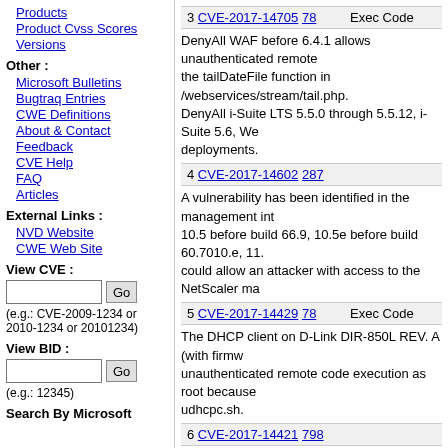Products
Product Cvss Scores
Versions
Other :
Microsoft Bulletins
Bugtraq Entries
CWE Definitions
About & Contact
Feedback
CVE Help
FAQ
Articles
External Links :
NVD Website
CWE Web Site
View CVE :
(e.g.: CVE-2009-1234 or 2010-1234 or 20101234)
View BID :
(e.g.: 12345)
Search By Microsoft
3 CVE-2017-14705 78  Exec Code
DenyAll WAF before 6.4.1 allows unauthenticated remote the tailDateFile function in /webservices/stream/tail.php. DenyAll i-Suite LTS 5.5.0 through 5.5.12, i-Suite 5.6, We deployments.
4 CVE-2017-14602 287
A vulnerability has been identified in the management int 10.5 before build 66.9, 10.5e before build 60.7010.e, 11. could allow an attacker with access to the NetScaler ma
5 CVE-2017-14429 78  Exec Code
The DHCP client on D-Link DIR-850L REV. A (with firmw unauthenticated remote code execution as root because udhcpc.sh.
6 CVE-2017-14421 798
D-Link DIR-850L REV. B (with firmware through FW208W upon device reset, which allows remote attackers to obta
7 CVE-2017-14350 306  Exec Code
A potential security vulnerability has been identified in HP remotely exploited to allow code execution.